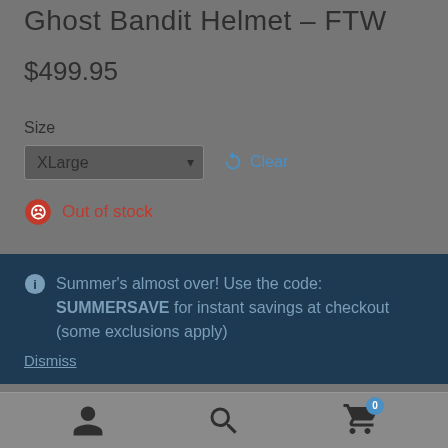Ghost Bandit Helmet – FTW
$499.95
Size
XLarge
Clear
Out of stock
Summer's almost over! Use the code: SUMMERSAVE for instant savings at checkout (some exclusions apply)
Dismiss